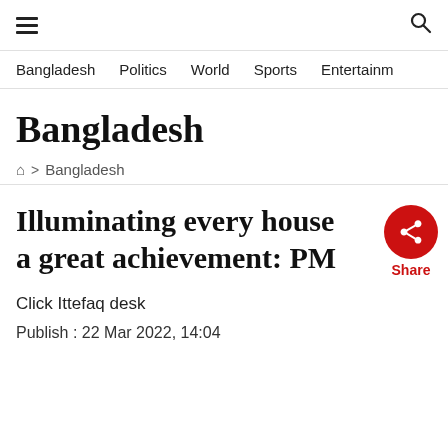≡  🔍
Bangladesh  Politics  World  Sports  Entertainm
Bangladesh
🏠 > Bangladesh
Illuminating every house a great achievement: PM
Click Ittefaq desk
Publish : 22 Mar 2022, 14:04